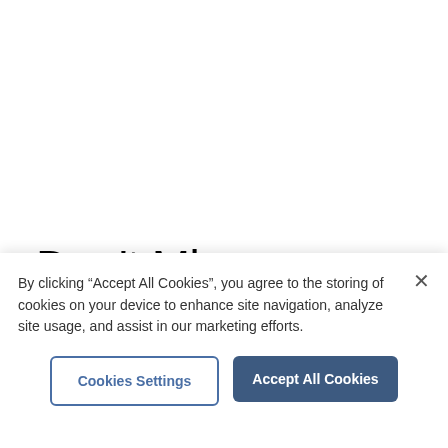Don't Miss
LIVE
Deadline Day Live: Team complete two...
By clicking “Accept All Cookies”, you agree to the storing of cookies on your device to enhance site navigation, analyze site usage, and assist in our marketing efforts.
Cookies Settings
Accept All Cookies